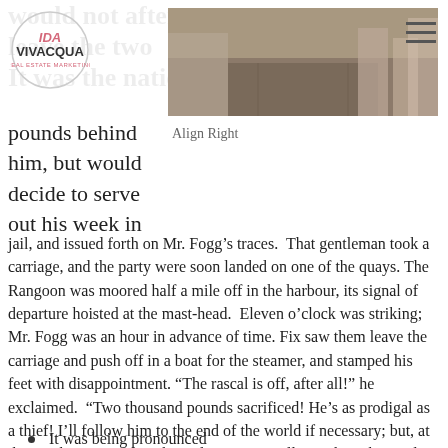Ida Vivacqua
[Figure (photo): Aerial city street view photo used as hero image on the page header]
pounds behind him, but would decide to serve out his week in jail, and issued forth on Mr. Fogg’s traces.  That gentleman took a carriage, and the party were soon landed on one of the quays. The Rangoon was moored half a mile off in the harbour, its signal of departure hoisted at the mast-head.  Eleven o’clock was striking; Mr. Fogg was an hour in advance of time. Fix saw them leave the carriage and push off in a boat for the steamer, and stamped his feet with disappointment. “The rascal is off, after all!” he exclaimed.  “Two thousand pounds sacrificed! He’s as prodigal as a thief! I’ll follow him to the end of the world if necessary; but, at the rate he is going on, the stolen money will soon be exhausted.”
Align Right
It was being pronounced